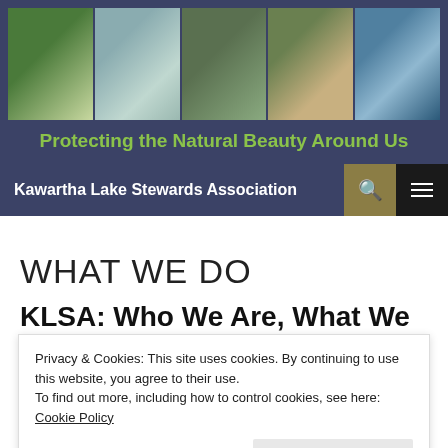[Figure (photo): Five nature photos in a horizontal strip: water lilies, spider web/plants, people on a dock, a turtle, and a reflective lake with trees]
Protecting the Natural Beauty Around Us
Kawartha Lake Stewards Association
WHAT WE DO
KLSA: Who We Are, What We Do
Privacy & Cookies: This site uses cookies. By continuing to use this website, you agree to their use.
To find out more, including how to control cookies, see here: Cookie Policy
Close and accept
Water Quality Monitoring